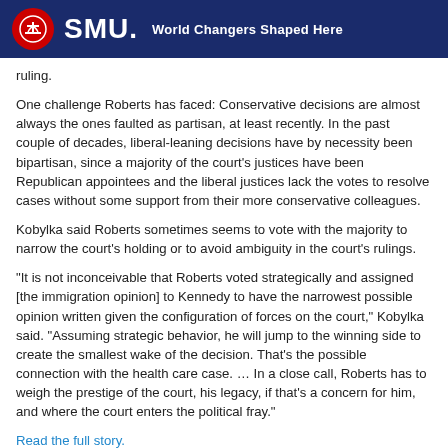SMU. World Changers Shaped Here
ruling.
One challenge Roberts has faced: Conservative decisions are almost always the ones faulted as partisan, at least recently. In the past couple of decades, liberal-leaning decisions have by necessity been bipartisan, since a majority of the court's justices have been Republican appointees and the liberal justices lack the votes to resolve cases without some support from their more conservative colleagues.
Kobylka said Roberts sometimes seems to vote with the majority to narrow the court's holding or to avoid ambiguity in the court's rulings.
“It is not inconceivable that Roberts voted strategically and assigned [the immigration opinion] to Kennedy to have the narrowest possible opinion written given the configuration of forces on the court,” Kobylka said. “Assuming strategic behavior, he will jump to the winning side to create the smallest wake of the decision. That’s the possible connection with the health care case. … In a close call, Roberts has to weigh the prestige of the court, his legacy, if that’s a concern for him, and where the court enters the political fray.”
Read the full story.
# # #